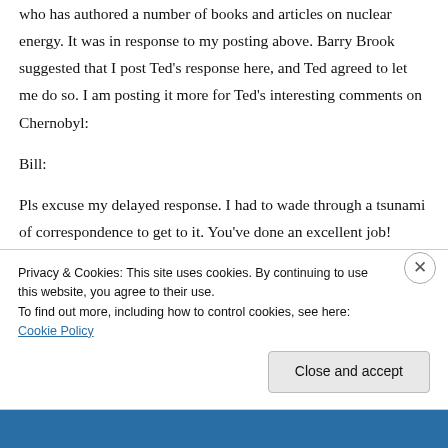who has authored a number of books and articles on nuclear energy. It was in response to my posting above. Barry Brook suggested that I post Ted's response here, and Ted agreed to let me do so. I am posting it more for Ted's interesting comments on Chernobyl:
Bill:
Pls excuse my delayed response. I had to wade through a tsunami of correspondence to get to it. You've done an excellent job! Congratulations.
Privacy & Cookies: This site uses cookies. By continuing to use this website, you agree to their use.
To find out more, including how to control cookies, see here: Cookie Policy